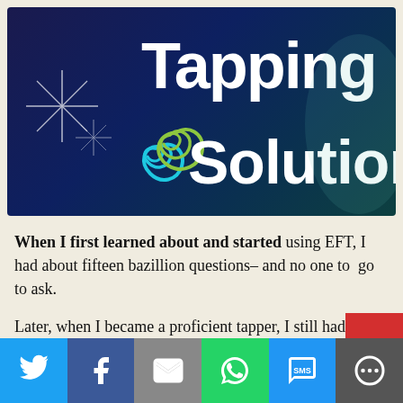[Figure (logo): Tapping Solution logo on dark navy background with spiral icon in blue and green, white text reading 'Tapping Solution' with sparkle effects]
When I first learned about and started using EFT, I had about fifteen bazillion questions– and no one to  go to ask.

Later, when I became a proficient tapper, I still had questions; and I also wanted to contribute to others who wanted to know what I knew.
[Figure (infographic): Social sharing bar at bottom with Twitter, Facebook, Email, WhatsApp, SMS, and More buttons in respective brand colors]